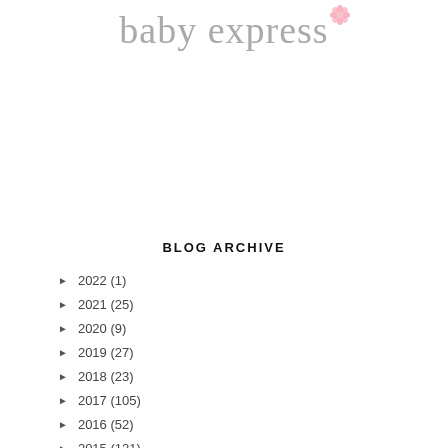[Figure (logo): Baby express logo in cursive gray script with a pink flower]
BLOG ARCHIVE
► 2022 (1)
► 2021 (25)
► 2020 (9)
► 2019 (27)
► 2018 (23)
► 2017 (105)
► 2016 (52)
► 2015 (121)
► 2014 (153)